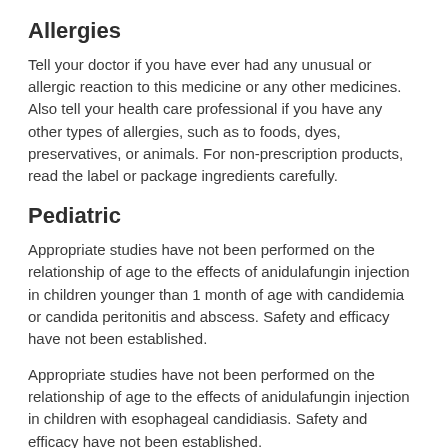Allergies
Tell your doctor if you have ever had any unusual or allergic reaction to this medicine or any other medicines. Also tell your health care professional if you have any other types of allergies, such as to foods, dyes, preservatives, or animals. For non-prescription products, read the label or package ingredients carefully.
Pediatric
Appropriate studies have not been performed on the relationship of age to the effects of anidulafungin injection in children younger than 1 month of age with candidemia or candida peritonitis and abscess. Safety and efficacy have not been established.
Appropriate studies have not been performed on the relationship of age to the effects of anidulafungin injection in children with esophageal candidiasis. Safety and efficacy have not been established.